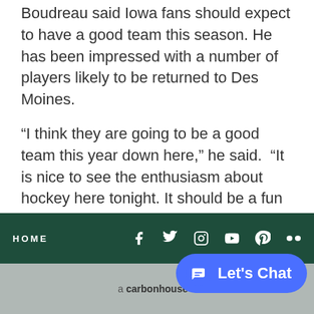Boudreau said Iowa fans should expect to have a good team this season. He has been impressed with a number of players likely to be returned to Des Moines.
“I think they are going to be a good team this year down here,” he said.  “It is nice to see the enthusiasm about hockey here tonight. It should be a fun season.”
BACK TO ALL
HOME
a carbonhouse e